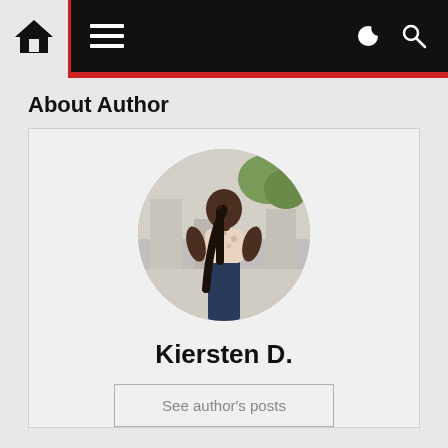Navigation bar with home icon, menu icon, moon icon, search icon
About Author
[Figure (photo): Circular profile photo of Kiersten D., a woman standing outdoors wearing a floral blouse and dark jeans]
Kiersten D.
See author's posts